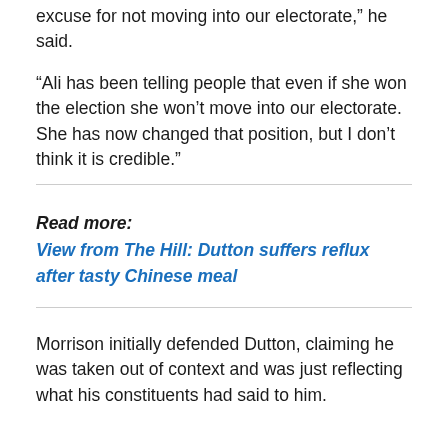excuse for not moving into our electorate,” he said.
“Ali has been telling people that even if she won the election she won’t move into our electorate. She has now changed that position, but I don’t think it is credible.”
Read more:
View from The Hill: Dutton suffers reflux after tasty Chinese meal
Morrison initially defended Dutton, claiming he was taken out of context and was just reflecting what his constituents had said to him.